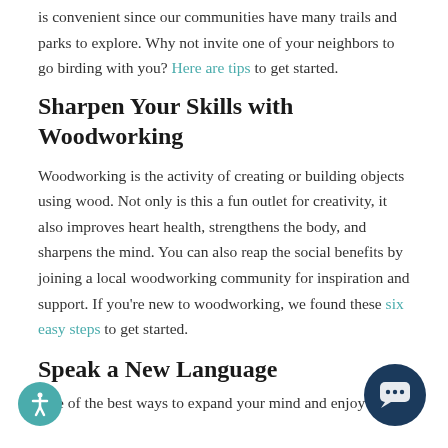is convenient since our communities have many trails and parks to explore. Why not invite one of your neighbors to go birding with you? Here are tips to get started.
Sharpen Your Skills with Woodworking
Woodworking is the activity of creating or building objects using wood. Not only is this a fun outlet for creativity, it also improves heart health, strengthens the body, and sharpens the mind. You can also reap the social benefits by joining a local woodworking community for inspiration and support. If you're new to woodworking, we found these six easy steps to get started.
Speak a New Language
One of the best ways to expand your mind and enjoy to...